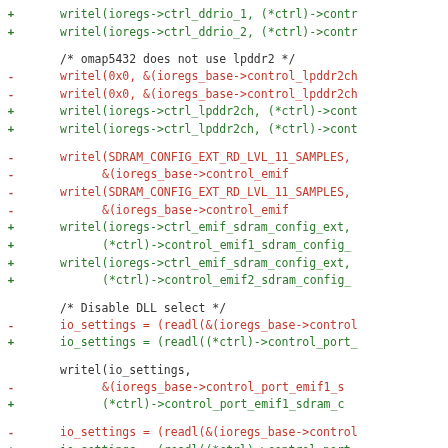diff code block showing git diff of ioregs/control register writes
+ writel(ioregs->ctrl_ddrio_1, (*ctrl)->contr
+ writel(ioregs->ctrl_ddrio_2, (*ctrl)->contr
/* omap5432 does not use lpddr2 */
- writel(0x0, &(ioregs_base->control_lpddr2ch
- writel(0x0, &(ioregs_base->control_lpddr2ch
+ writel(ioregs->ctrl_lpddr2ch, (*ctrl)->cont
+ writel(ioregs->ctrl_lpddr2ch, (*ctrl)->cont
- writel(SDRAM_CONFIG_EXT_RD_LVL_11_SAMPLES,
- &(ioregs_base->control_emif
- writel(SDRAM_CONFIG_EXT_RD_LVL_11_SAMPLES,
- &(ioregs_base->control_emif
+ writel(ioregs->ctrl_emif_sdram_config_ext,
+ (*ctrl)->control_emif1_sdram_config_
+ writel(ioregs->ctrl_emif_sdram_config_ext,
+ (*ctrl)->control_emif2_sdram_config_
/* Disable DLL select */
- io_settings = (readl(&(ioregs_base->control
+ io_settings = (readl((*ctrl)->control_port_
writel(io_settings,
- &(ioregs_base->control_port_emif1_s
+ (*ctrl)->control_port_emif1_sdram_c
- io_settings = (readl(&(ioregs_base->control
+ io_settings = (readl((*ctrl)->control_port_
writel(io_settings,